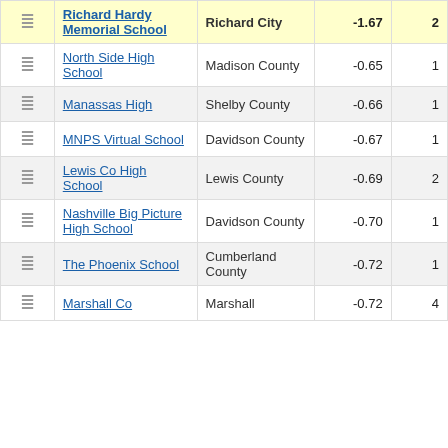|  | School | District | Score | Grade |
| --- | --- | --- | --- | --- |
| [icon] | Richard Hardy Memorial School | Richard City | -1.67 | 2 |
| [icon] | North Side High School | Madison County | -0.65 | 1 |
| [icon] | Manassas High | Shelby County | -0.66 | 1 |
| [icon] | MNPS Virtual School | Davidson County | -0.67 | 1 |
| [icon] | Lewis Co High School | Lewis County | -0.69 | 2 |
| [icon] | Nashville Big Picture High School | Davidson County | -0.70 | 1 |
| [icon] | The Phoenix School | Cumberland County | -0.72 | 1 |
| [icon] | Marshall Co | Marshall | -0.72 | 4 |